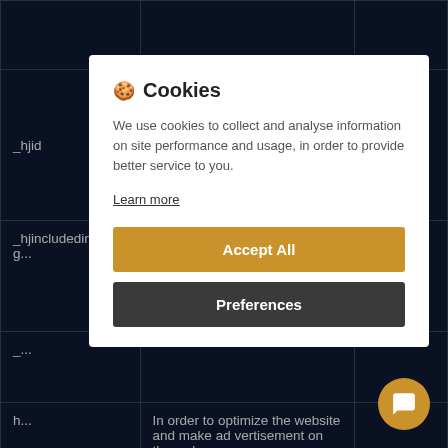| Cookie | Description | Duration |
| --- | --- | --- |
| _hjid | Sets a unique ID for the session. This allows the website to obtain data on visitor behaviour for statistical purposes. | Persistent |
| _hjincludedinPageviewSample | Determines if the user's... | 1 day |
| _... | ... | ... |
| h... | In order to optimize the website and make advertisement on the web... | ... |
🍪 Cookies
We use cookies to collect and analyse information on site performance and usage, in order to provide better service to you.
Learn more
[Accept All] [Preferences]